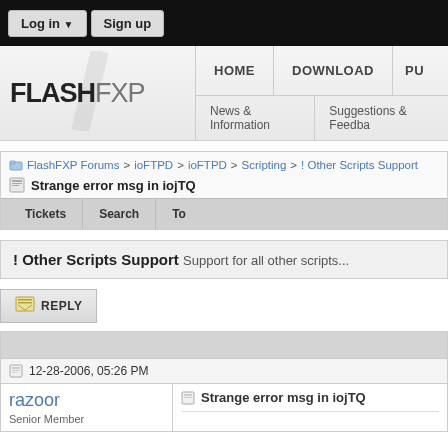Log in ▼   Sign up
[Figure (logo): FlashFXP logo with slash mark]
HOME   DOWNLOAD   PU...   News & Information   Suggestions & Feedba...
FlashFXP Forums > ioFTPD > ioFTPD > Scripting > ! Other Scripts Support
Strange error msg in iojTQ
Tickets   Search   To...
! Other Scripts Support Support for all other scripts...
REPLY
12-28-2006, 05:26 PM
razoor
Senior Member
Strange error msg in iojTQ